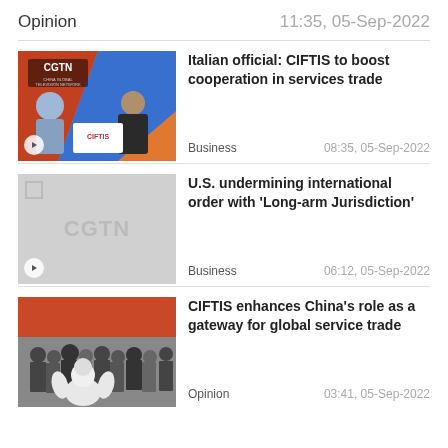Opinion    11:35, 05-Sep-2022
[Figure (photo): CGTN interview scene with two people seated in a studio with colorful background]
Italian official: CIFTIS to boost cooperation in services trade
Business    08:35, 05-Sep-2022
[Figure (photo): CGTN placeholder thumbnail with watermark]
U.S. undermining international order with 'Long-arm Jurisdiction'
Business    06:12, 05-Sep-2022
[Figure (photo): Crowd with robots at CIFTIS expo, colorful background]
CIFTIS enhances China's role as a gateway for global service trade
Opinion    03:41, 05-Sep-2022